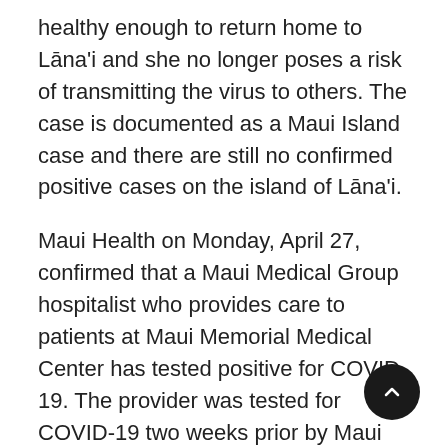healthy enough to return home to Lāna'i and she no longer poses a risk of transmitting the virus to others. The case is documented as a Maui Island case and there are still no confirmed positive cases on the island of Lāna'i.
Maui Health on Monday, April 27, confirmed that a Maui Medical Group hospitalist who provides care to patients at Maui Memorial Medical Center has tested positive for COVID-19. The provider was tested for COVID-19 two weeks prior by Maui Medical Group, was asymptomatic, and the results were negative. The provider then became symptomatic and self-quarantined at home. On Friday April 24, a repeat test was performed and on Sunday April 26, the results